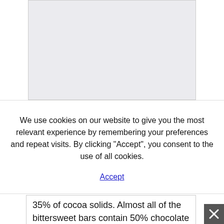[Figure (other): Light gray placeholder/image area with border, partially visible at top of page]
We use cookies on our website to give you the most relevant experience by remembering your preferences and repeat visits. By clicking “Accept”, you consent to the use of all cookies.
Accept
35% of cocoa solids. Almost all of the bittersweet bars contain 50% chocolate liquor. These kind of chocolates have a very bitter flavor than sweet dark and semi
sweet chocolates. Since the volume of